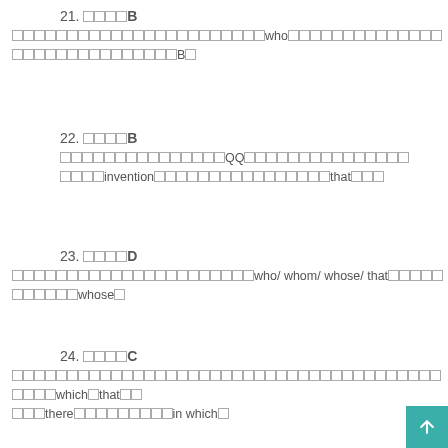21. □□□□B
□□□□□□□□□□□□□□□□□□□□□□□who□□□□□□□□□□□□□□□□□□□□□□□□□□□□B□
22. □□□□B
□□□□□□□□□□□□□□□QQ□□□□□□□□□□□□□□□□□□□invention□□□□□□□□□□□□□□□□□that□□□
23. □□□□D
□□□□□□□□□□□□□□□□□□□□□□who/ whom/ whose/ that□□□□□□□□□□□whose□
24. □□□□C
□□□□□□□□□□□□□□□□□□□□□□□□□□□□□□□□□□□□□□□□□which□that□□□□□there□□□□□□□□□□in which□